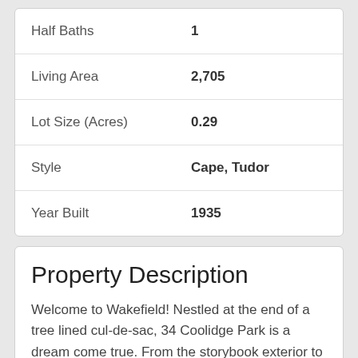| Property | Value |
| --- | --- |
| Half Baths | 1 |
| Living Area | 2,705 |
| Lot Size (Acres) | 0.29 |
| Style | Cape, Tudor |
| Year Built | 1935 |
Property Description
Welcome to Wakefield! Nestled at the end of a tree lined cul-de-sac, 34 Coolidge Park is a dream come true. From the storybook exterior to the fantastic layout, it is rare to find a true four bedroom home of this substance and quality. Enter